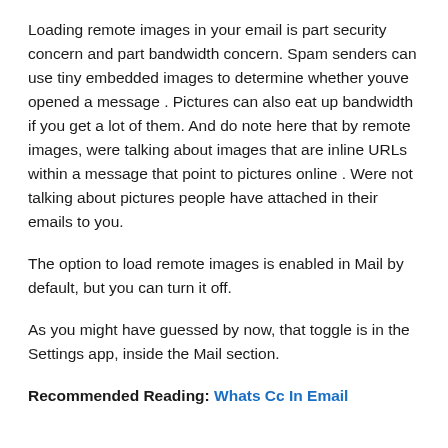Loading remote images in your email is part security concern and part bandwidth concern. Spam senders can use tiny embedded images to determine whether youve opened a message . Pictures can also eat up bandwidth if you get a lot of them. And do note here that by remote images, were talking about images that are inline URLs within a message that point to pictures online . Were not talking about pictures people have attached in their emails to you.
The option to load remote images is enabled in Mail by default, but you can turn it off.
As you might have guessed by now, that toggle is in the Settings app, inside the Mail section.
Recommended Reading: Whats Cc In Email